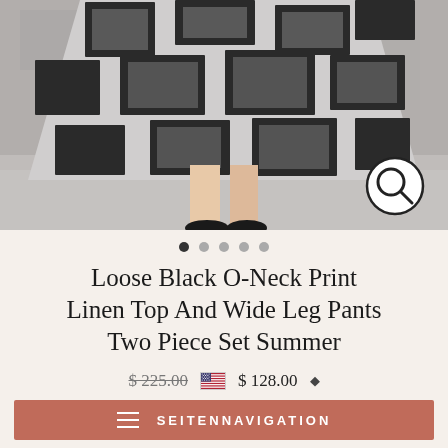[Figure (photo): Fashion photo showing lower half of model wearing a loose black and grey geometric print linen outfit — wide leg pants and top with abstract rectangular block pattern, shot against grey concrete wall background. A magnifier/search icon is overlaid in the bottom right corner.]
● ○ ○ ○ ○
Loose Black O-Neck Print Linen Top And Wide Leg Pants Two Piece Set Summer
$225.00  🇺🇸 $128.00 ◆
≡  SEITENNAVIGATION